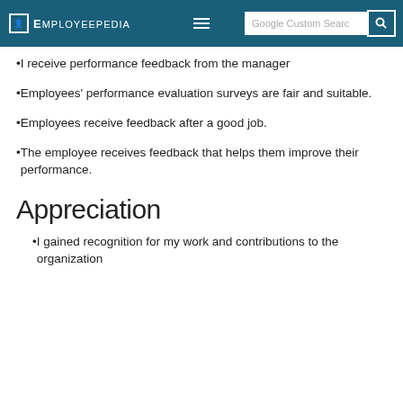EMPLOYEEPEDIA
I receive performance feedback from the manager
Employees' performance evaluation surveys are fair and suitable.
Employees receive feedback after a good job.
The employee receives feedback that helps them improve their performance.
Appreciation
I gained recognition for my work and contributions to the organization